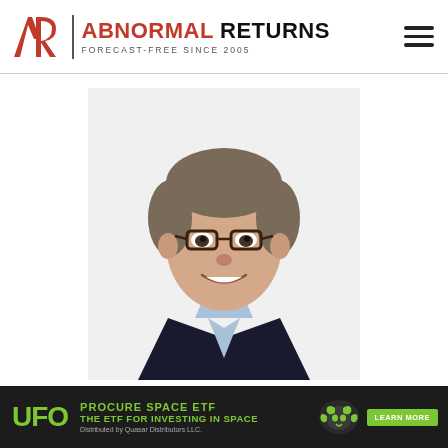ABNORMAL RETURNS — FORECAST-FREE SINCE 2005
[Figure (photo): Professional headshot of a middle-aged man with glasses, grey-brown hair, wearing a dark blazer and light blue collared shirt, smiling, on a white/light grey background.]
Abnormal Returns, since its launch in
[Figure (other): UFO Procure Space ETF advertisement banner. Text: UFO | PROCURE SPACE ETF | THE ETF FOR INVESTING IN SPACE | LEARN MORE | Distributed by Quasar Distributors LLC.]